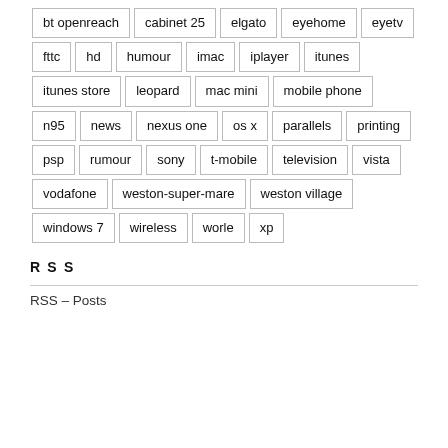bt openreach
cabinet 25
elgato
eyehome
eyetv
fttc
hd
humour
imac
iplayer
itunes
itunes store
leopard
mac mini
mobile phone
n95
news
nexus one
os x
parallels
printing
psp
rumour
sony
t-mobile
television
vista
vodafone
weston-super-mare
weston village
windows 7
wireless
worle
xp
RSS
RSS – Posts